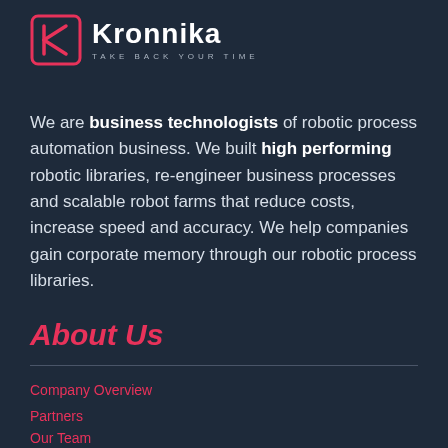[Figure (logo): Kronnika logo with pink/red geometric K icon and white Kronnika text with tagline TAKE BACK YOUR TIME]
We are business technologists of robotic process automation business. We built high performing robotic libraries, re-engineer business processes and scalable robot farms that reduce costs, increase speed and accuracy. We help companies gain corporate memory through our robotic process libraries.
About Us
Company Overview
Partners
Our Team